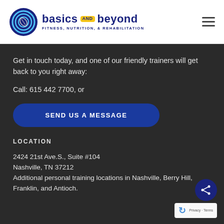[Figure (logo): Basics and Beyond Fitness, Nutrition, & Rehabilitation logo with circular icon and hamburger menu]
Get in touch today, and one of our friendly trainers will get back to you right away:
Call: 615 442 7700, or
SEND US A MESSAGE
LOCATION
2424 21st Ave.S., Suite #104
Nashville, TN 37212
Additional personal training locations in Nashville, Berry Hill, Franklin, and Antioch.